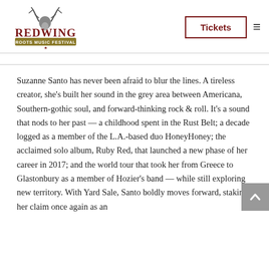[Figure (logo): Red Wing Roots Music Festival logo — decorative antler/deer imagery above stylized red serif lettering 'REDWING' with banner reading 'ROOTS MUSIC FESTIVAL']
Tickets
Suzanne Santo has never been afraid to blur the lines. A tireless creator, she's built her sound in the grey area between Americana, Southern-gothic soul, and forward-thinking rock & roll. It's a sound that nods to her past — a childhood spent in the Rust Belt; a decade logged as a member of the L.A.-based duo HoneyHoney; the acclaimed solo album, Ruby Red, that launched a new phase of her career in 2017; and the world tour that took her from Greece to Glastonbury as a member of Hozier's band — while still exploring new territory. With Yard Sale, Santo boldly moves forward, staking her claim once again as an